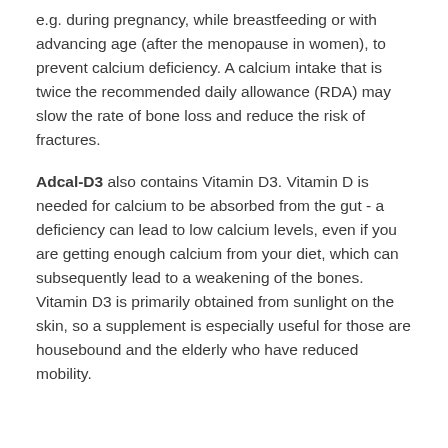e.g. during pregnancy, while breastfeeding or with advancing age (after the menopause in women), to prevent calcium deficiency. A calcium intake that is twice the recommended daily allowance (RDA) may slow the rate of bone loss and reduce the risk of fractures.
Adcal-D3 also contains Vitamin D3. Vitamin D is needed for calcium to be absorbed from the gut - a deficiency can lead to low calcium levels, even if you are getting enough calcium from your diet, which can subsequently lead to a weakening of the bones. Vitamin D3 is primarily obtained from sunlight on the skin, so a supplement is especially useful for those are housebound and the elderly who have reduced mobility.